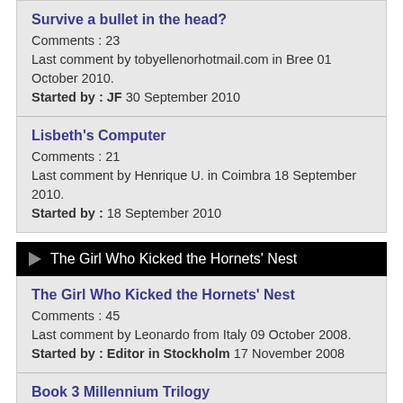Survive a bullet in the head?
Comments : 23
Last comment by tobyellenorhotmail.com in Bree 01 October 2010.
Started by : JF 30 September 2010
Lisbeth's Computer
Comments : 21
Last comment by Henrique U. in Coimbra 18 September 2010.
Started by : 18 September 2010
The Girl Who Kicked the Hornets' Nest
The Girl Who Kicked the Hornets' Nest
Comments : 45
Last comment by Leonardo from Italy 09 October 2008.
Started by : Editor in Stockholm 17 November 2008
Book 3 Millennium Trilogy
Comments : 8
Last comment by Barry Williams in Merthyr Tydfil 06 February 2009.
Started by : Cathy Probyn 01 February 2009